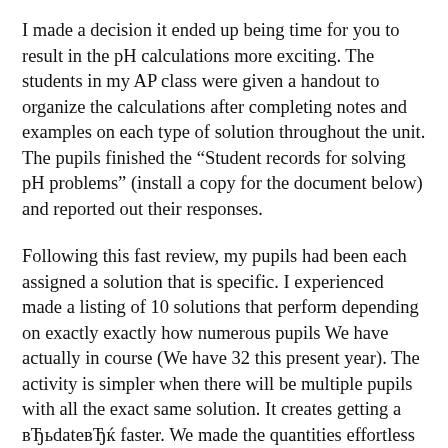I made a decision it ended up being time for you to result in the pH calculations more exciting. The students in my AP class were given a handout to organize the calculations after completing notes and examples on each type of solution throughout the unit. The pupils finished the "Student records for solving pH problems" (install a copy for the document below) and reported out their responses.
Following this fast review, my pupils had been each assigned a solution that is specific. I experienced made a listing of 10 solutions that perform depending on exactly exactly how numerous pupils We have actually in course (We have 32 this present year). The activity is simpler when there will be multiple pupils with all the exact same solution. It creates getting a вЂьdateвЂќ faster. We made the quantities effortless sufficient that pupils can easily determine and compare since the goal associated with the tutorial would be to remember the technique to quickly calculate the pH, to not